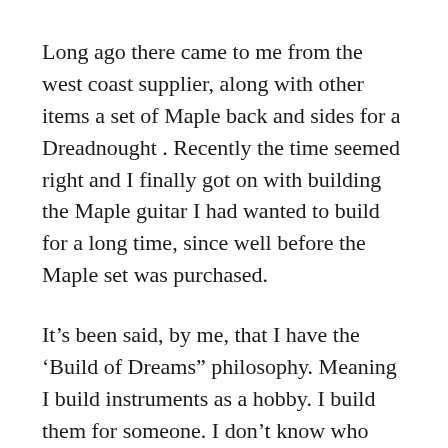Long ago there came to me from the west coast supplier, along with other items a set of Maple back and sides for a Dreadnought . Recently the time seemed right and I finally got on with building the Maple guitar I had wanted to build for a long time, since well before the Maple set was purchased.
It’s been said, by me, that I have the ‘Build of Dreams” philosophy. Meaning I build instruments as a hobby. I build them for someone. I don’t know who that someone is yet. When I build it, they will come.
I had set my mind to use a two step dye process